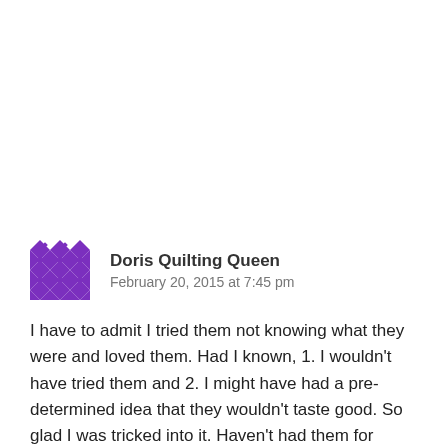[Figure (illustration): Purple pixel/quilting pattern avatar icon for user Doris Quilting Queen]
Doris Quilting Queen
February 20, 2015 at 7:45 pm
I have to admit I tried them not knowing what they were and loved them. Had I known, 1. I wouldn't have tried them and 2. I might have had a pre-determined idea that they wouldn't taste good. So glad I was tricked into it. Haven't had them for years tho.